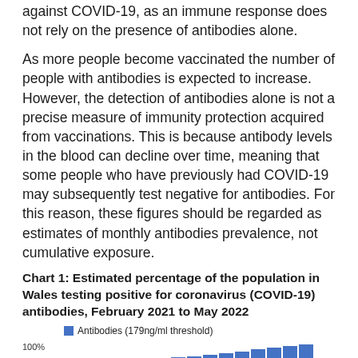against COVID-19, as an immune response does not rely on the presence of antibodies alone.
As more people become vaccinated the number of people with antibodies is expected to increase. However, the detection of antibodies alone is not a precise measure of immunity protection acquired from vaccinations. This is because antibody levels in the blood can decline over time, meaning that some people who have previously had COVID-19 may subsequently test negative for antibodies. For this reason, these figures should be regarded as estimates of monthly antibodies prevalence, not cumulative exposure.
Chart 1: Estimated percentage of the population in Wales testing positive for coronavirus (COVID-19) antibodies, February 2021 to May 2022
[Figure (bar-chart): Estimated percentage of the population in Wales testing positive for coronavirus (COVID-19) antibodies, February 2021 to May 2022]